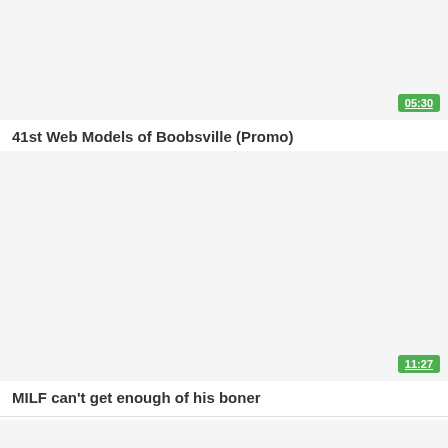[Figure (screenshot): Video thumbnail placeholder, white/light gray area with duration badge showing 05:30]
41st Web Models of Boobsville (Promo)
[Figure (screenshot): Video thumbnail placeholder, white/light gray area with duration badge showing 11:27]
MILF can't get enough of his boner
[Figure (screenshot): Video thumbnail placeholder, white/light gray area, partial view at bottom]